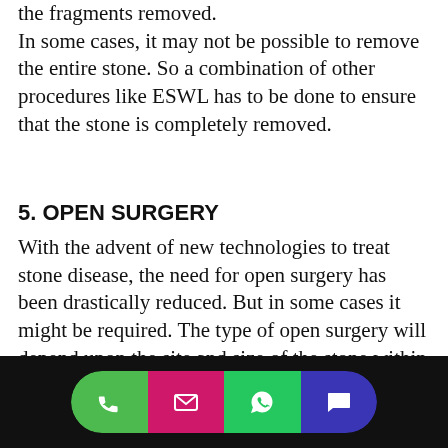the fragments removed. In some cases, it may not be possible to remove the entire stone. So a combination of other procedures like ESWL has to be done to ensure that the stone is completely removed.
5. OPEN SURGERY
With the advent of new technologies to treat stone disease, the need for open surgery has been drastically reduced. But in some cases it might be required. The type of open surgery will depend upon the site and size of the stone within the urinary tract.
[Figure (other): A circular scroll-up button with a chevron/caret icon pointing upward, with a horizontal divider line to its right.]
[Figure (other): Mobile app bottom navigation bar with four icon buttons: green phone/call button, pink/magenta email button, green WhatsApp button, and blue chat/message button.]